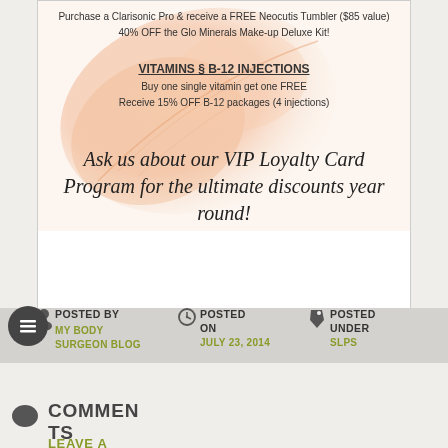[Figure (illustration): Decorative leaf/floral background image in peach/orange tones within a white bordered card]
Purchase a Clarisonic Pro & receive a FREE Neocutis Tumbler ($85 value)
40% OFF the Glo Minerals Make-up Deluxe Kit!
VITAMINS § B-12 INJECTIONS
Buy one single vitamin get one FREE
Receive 15% OFF B-12 packages (4 injections)
Ask us about our VIP Loyalty Card Program for the ultimate discounts year round!
POSTED BY
MY BODY SURGEON BLOG
POSTED ON
JULY 23, 2014
POSTED UNDER
SLPS
COMMENTS
LEAVE A